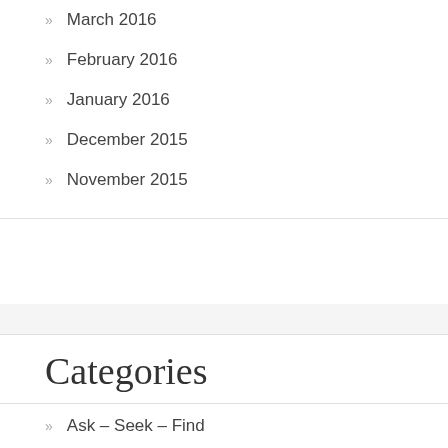March 2016
February 2016
January 2016
December 2015
November 2015
Categories
Ask – Seek – Find
Bible